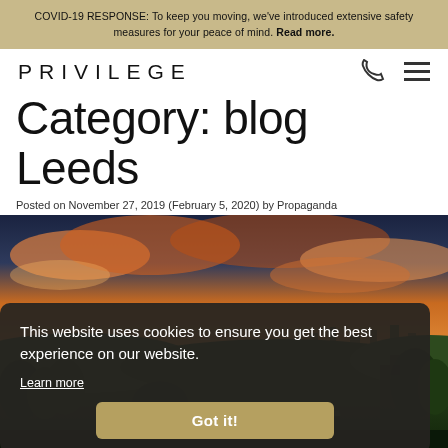COVID-19 RESPONSE: To keep you moving, we've introduced extensive safety measures for your peace of mind. Read more.
PRIVILEGE
Category: blog Leeds
Posted on November 27, 2019 (February 5, 2020) by Propaganda
[Figure (photo): Aerial sunset view of Leeds cityscape with green parklands, trees, a river and historic buildings under dramatic orange-pink cloudy sky]
This website uses cookies to ensure you get the best experience on our website. Learn more Got it!